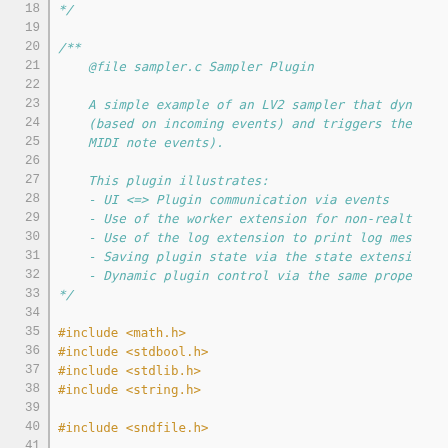Source code listing lines 18–47 of sampler.c including file header comment and #include directives